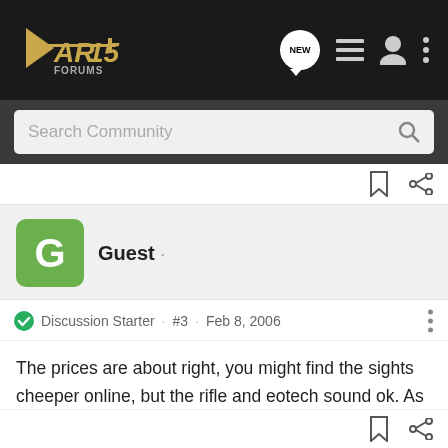AR15Forums — Search Community navigation bar
Search Community
Guest ·
Discussion Starter · #3 · Feb 8, 2006
The prices are about right, you might find the sights cheeper online, but the rifle and eotech sound ok. As for the barrel, 16" is fine for a gun you just shoot for fun, if you were going to use it for varmint hunting, or 3-Gun matches then I would go with the 20" barrel.